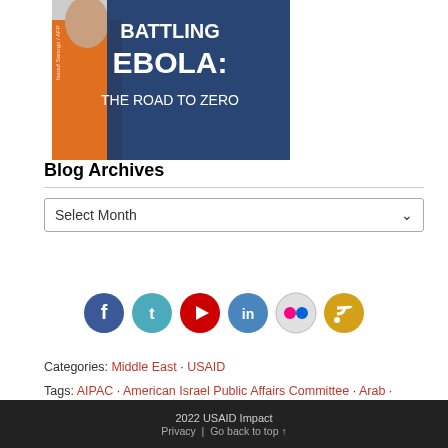[Figure (photo): Battling Ebola: The Road to Zero promotional banner image with person in orange clothing and blue overlay text]
Blog Archives
[Figure (screenshot): Select Month dropdown widget]
[Figure (infographic): Row of social media icon buttons: Facebook, Twitter, YouTube, LinkedIn, Flickr, RSS]
Categories: Middle East · USAID
Tags: AIPAC · American Israel Public Affairs Committee · Arab · Institution Building · Israel · Israeli · Mara Rudman · Middle East · Palestine · Palestinian · Palestinian Authority · Peace · Peace Process · Rudman · Security
2022 USAID Impact | Privacy | Go back to top